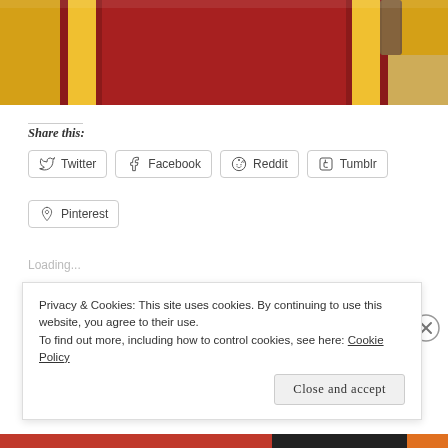[Figure (photo): Red and gold/yellow striped carpet runner viewed from above, with a wooden table leg visible in the upper right corner]
Share this:
Twitter Facebook Reddit Tumblr Pinterest
Loading...
Privacy & Cookies: This site uses cookies. By continuing to use this website, you agree to their use. To find out more, including how to control cookies, see here: Cookie Policy
Close and accept